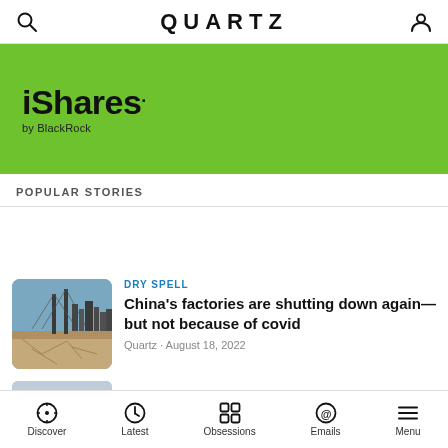QUARTZ
[Figure (logo): iShares by BlackRock advertisement banner on green background]
POPULAR STORIES
DRY SPELL
China's factories are shutting down again—but not because of covid
Quartz · August 18, 2022
COWS BURP FOR FREE
Discover  Latest  Obsessions  Emails  Menu